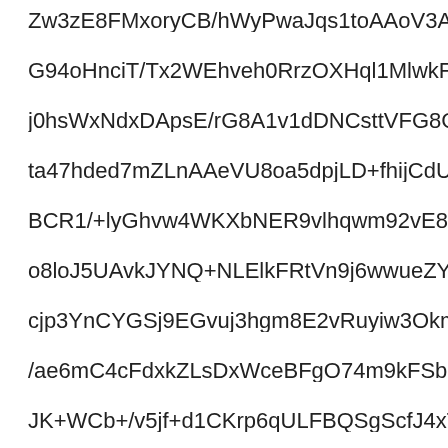Zw3zE8FMxoryCB/hWyPwaJqs1toAAoV3AcgfVLgryo8q2hpB
G94oHnciT/Tx2WEhveh0RrzOXHql1MlwkFZ1NFwbcgyNNYv
j0hsWxNdxDApsE/rG8A1v1dDNCsttVFG8Gsgf8ezr30V5Bfm1
ta47hded7mZLnAAeVU8oa5dpjLD+fhijCdU+/S0zgg65Rdm/Kl
BCR1/+lyGhvw4WKXbNER9vlhqwm92vE8r+GS1Jpn7Bot/2ql
o8loJ5UAvkJYNQ+NLElkFRtVn9j6wwueZYZENlR4ZouDa/w6
cjp3YnCYGSj9EGvuj3hgm8E2vRuyiw3Okm3orSb87KW8hg4
/ae6mC4cFdxkZLsDxWceBFgO74m9kFSbeT9Pj25/vLAuPlms
JK+WCb+/v5jf+d1CKrp6qULFBQSgScfJ4xT8L4guQbUtCXmx
yEgK9r5r9CAxlJ5hEVeOJW05HAmxxyyP7YinA+cLy1Jxu539